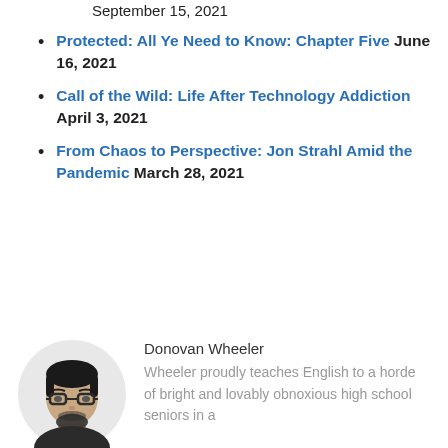September 15, 2021
Protected: All Ye Need to Know: Chapter Five June 16, 2021
Call of the Wild: Life After Technology Addiction April 3, 2021
From Chaos to Perspective: Jon Strahl Amid the Pandemic March 28, 2021
[Figure (illustration): Cartoon avatar of Donovan Wheeler, a man with glasses and a beard wearing a dark jacket]
Donovan Wheeler
Wheeler proudly teaches English to a horde of bright and lovably obnoxious high school seniors in a